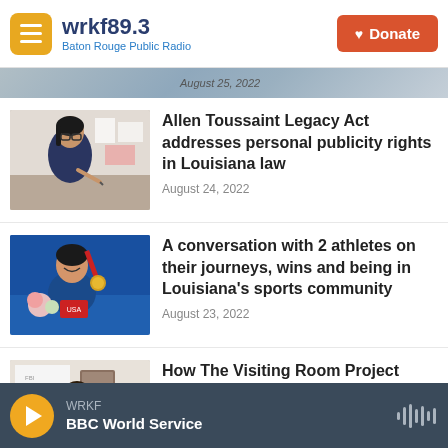wrkf89.3 Baton Rouge Public Radio — Donate
August 25, 2022
Allen Toussaint Legacy Act addresses personal publicity rights in Louisiana law
August 24, 2022
A conversation with 2 athletes on their journeys, wins and being in Louisiana's sports community
August 23, 2022
How The Visiting Room Project helps tell the stories of people serving life sentences
August 22, 2022
WRKF BBC World Service